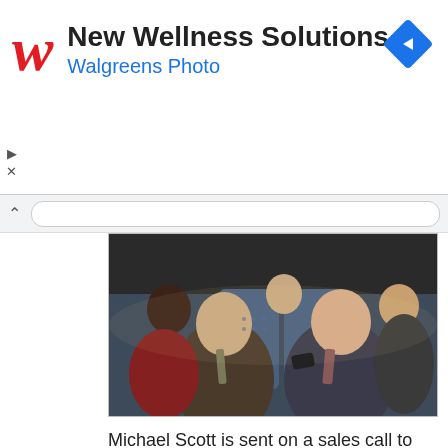[Figure (infographic): Walgreens advertisement banner with stylized red W logo, text 'New Wellness Solutions' and 'Walgreens Photo', and a blue navigation diamond icon in upper right]
[Figure (photo): Two men in suits sitting on an airplane or bus, smiling and talking to each other. Scene appears to be from a TV show (The Office). Multiple passengers visible in background seats.]
Michael Scott is sent on a sales call to "Can-uh-duh" by David Wallace. David is trying to help Michael through the pain of Holly Flax being relocated. Included on the trip are Andy and Oscar. David casually suggests that Michael